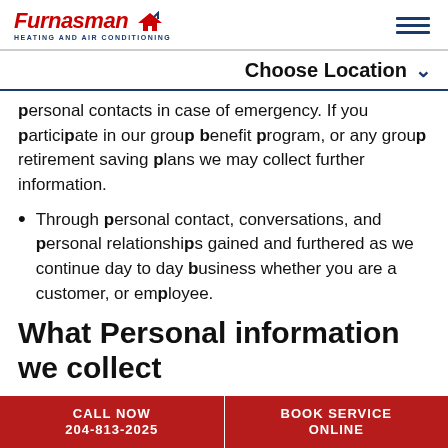Furnasman Heating and Air Conditioning
Choose Location
personal contacts in case of emergency. If you participate in our group benefit program, or any group retirement saving plans we may collect further information.
Through personal contact, conversations, and personal relationships gained and furthered as we continue day to day business whether you are a customer, or employee.
What Personal information we collect
During the various types of contact, as listed
CALL NOW 204-813-2025 | BOOK SERVICE ONLINE